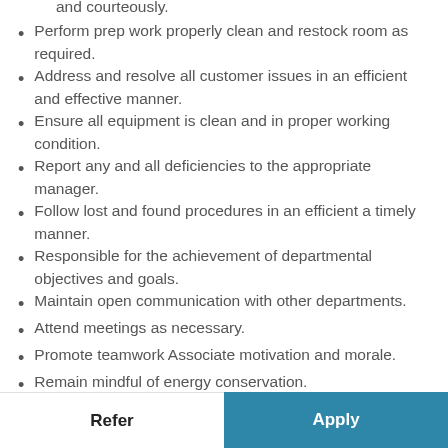Handle guests' questions and concerns professionally and courteously.
Perform prep work properly clean and restock room as required.
Address and resolve all customer issues in an efficient and effective manner.
Ensure all equipment is clean and in proper working condition.
Report any and all deficiencies to the appropriate manager.
Follow lost and found procedures in an efficient a timely manner.
Responsible for the achievement of departmental objectives and goals.
Maintain open communication with other departments.
Attend meetings as necessary.
Promote teamwork Associate motivation and morale.
Remain mindful of energy conservation.
Follow all safety and security regulations.
Maintain the confidentiality of the Hotel and its guests.
Refer | Apply